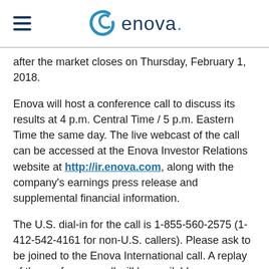enova.
after the market closes on Thursday, February 1, 2018.
Enova will host a conference call to discuss its results at 4 p.m. Central Time / 5 p.m. Eastern Time the same day. The live webcast of the call can be accessed at the Enova Investor Relations website at http://ir.enova.com, along with the company's earnings press release and supplemental financial information.
The U.S. dial-in for the call is 1-855-560-2575 (1-412-542-4161 for non-U.S. callers). Please ask to be joined to the Enova International call. A replay of the conference call will be available